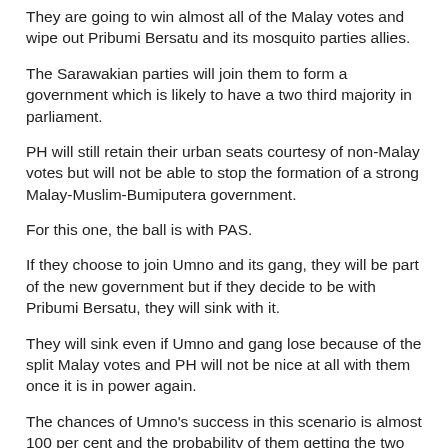They are going to win almost all of the Malay votes and wipe out Pribumi Bersatu and its mosquito parties allies.
The Sarawakian parties will join them to form a government which is likely to have a two third majority in parliament.
PH will still retain their urban seats courtesy of non-Malay votes but will not be able to stop the formation of a strong Malay-Muslim-Bumiputera government.
For this one, the ball is with PAS.
If they choose to join Umno and its gang, they will be part of the new government but if they decide to be with Pribumi Bersatu, they will sink with it.
They will sink even if Umno and gang lose because of the split Malay votes and PH will not be nice at all with them once it is in power again.
The chances of Umno's success in this scenario is almost 100 per cent and the probability of them getting the two third